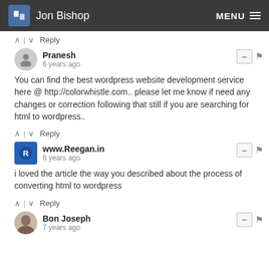Jon Bishop  MENU
^ | v  Reply
Pranesh
6 years ago
You can find the best wordpress website development service here @ http://colorwhistle.com.. please let me know if need any changes or correction following that still if you are searching for html to wordpress..
^ | v  Reply
www.Reegan.in
6 years ago
i loved the article the way you described about the process of converting html to wordpress
^ | v  Reply
Bon Joseph
7 years ago